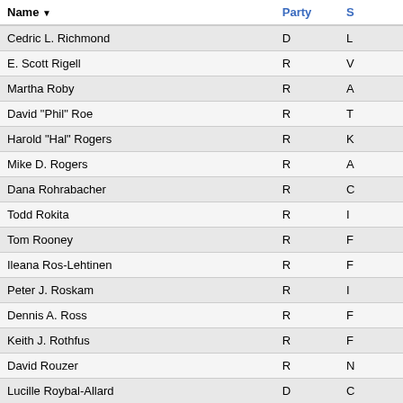| Name | Party | S |
| --- | --- | --- |
| Cedric L. Richmond | D | L |
| E. Scott Rigell | R | V |
| Martha Roby | R | A |
| David "Phil" Roe | R | T |
| Harold "Hal" Rogers | R | K |
| Mike D. Rogers | R | A |
| Dana Rohrabacher | R | C |
| Todd Rokita | R | I |
| Tom Rooney | R | F |
| Ileana Ros-Lehtinen | R | F |
| Peter J. Roskam | R | I |
| Dennis A. Ross | R | F |
| Keith J. Rothfus | R | F |
| David Rouzer | R | N |
| Lucille Roybal-Allard | D | C |
| Ed Royce | R | C |
| Raul Ruiz | D | C |
| C.A. "Dutch" Ruppersberger | D | M |
| Bobby L. Rush | D | I |
| Steve Russell | R | C |
| Paul D. Ryan | R | W |
| Tim Ryan | D | C |
| ... | R |  |